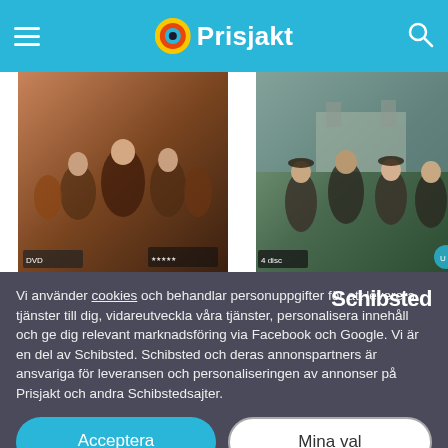Prisjakt
[Figure (photo): Downton Abbey - The London Season DVD cover showing cast in period costume]
Downton Abbey - The London Season
Drama, TV-serie, Dolby Digital 5....
59 kr
[Figure (photo): Downton Abbey: A Journey to the Highlands DVD cover showing cast outdoors in period costume]
Downton Abbey: A Journey to the Highlands
Drama, TV-serie, Dolby Digital 5....
★★★½☆ (1)
69 kr
Vi använder cookies och behandlar personuppgifter för att leverera tjänster till dig, vidareutveckla våra tjänster, personalisera innehåll och ge dig relevant marknadsföring via Facebook och Google. Vi är en del av Schibsted. Schibsted och deras annonspartners är ansvariga för leveransen och personaliseringen av annonser på Prisjakt och andra Schibstedsajter.
Acceptera
Mina val